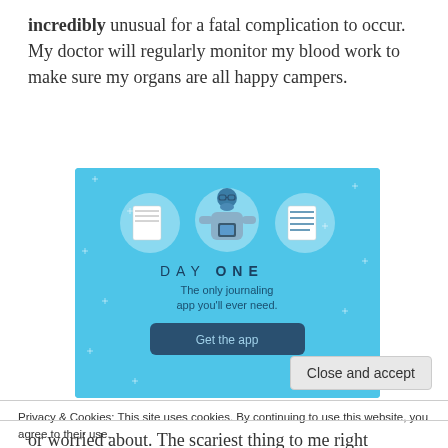incredibly unusual for a fatal complication to occur. My doctor will regularly monitor my blood work to make sure my organs are all happy campers.
[Figure (illustration): Day One journaling app advertisement on a blue background. Shows three circular icons (a blank notebook, a person holding a phone, and a lined notebook). Text reads 'DAY ONE - The only journaling app you'll ever need.' with a 'Get the app' button.]
Privacy & Cookies: This site uses cookies. By continuing to use this website, you agree to their use.
To find out more, including how to control cookies, see here: Cookie Policy
Close and accept
or worried about. The scariest thing to me right